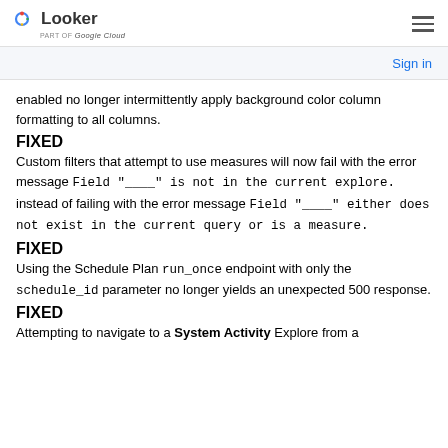Looker | part of Google Cloud
Sign in
enabled no longer intermittently apply background color column formatting to all columns.
FIXED
Custom filters that attempt to use measures will now fail with the error message Field "____" is not in the current explore. instead of failing with the error message Field "____" either does not exist in the current query or is a measure.
FIXED
Using the Schedule Plan run_once endpoint with only the schedule_id parameter no longer yields an unexpected 500 response.
FIXED
Attempting to navigate to a System Activity Explore from a